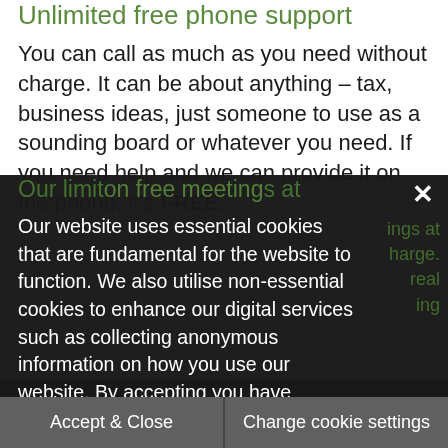Unlimited free phone support
You can call as much as you need without charge. It can be about anything – tax, business ideas, just someone to use as a sounding board or whatever you need. If you need help and we can provide it on the phone, it's FREE.
[Figure (screenshot): Cookie consent overlay dialog with dark background covering the lower portion of the page. Contains cookie policy text, a close (X) button, and two buttons: 'Accept & Close' and 'Change cookie settings'. Behind the overlay, partially visible green section header and body text about additional services.]
you are not presently taking advantage of.